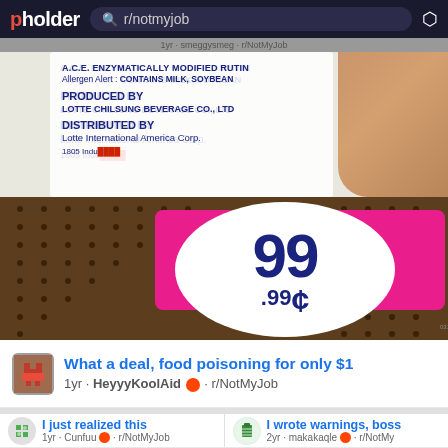pholder  r/notmyjob
[Figure (photo): Photo of a product label showing 'ENZYMATICALLY MODIFIED RUTIN, Allergen Alert: CONTAINS MILK, SOYBEAN, PRODUCED BY LOTTE CHILSUNG BEVERAGE CO., LTD, DISTRIBUTED BY Lotte International America Corp., 1805 Indu...' overlaid with a round pink/white 99 cent price sticker showing '99.99¢']
What a deal, food poisoning for only $1
1yr · HeyyyKoolAid · r/NotMyJob
I just realized this
1yr · Cunfuu · r/NotMyJob
I wrote warnings, boss
2yr · makakaqle · r/NotMy